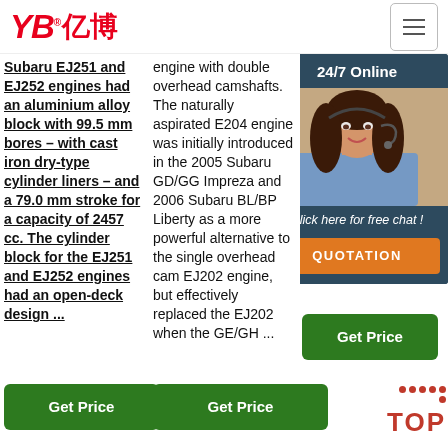[Figure (logo): YB亿博 logo in red with registered trademark symbol]
Subaru EJ251 and EJ252 engines had an aluminium alloy block with 99.5 mm bores – with cast iron dry-type cylinder liners – and a 79.0 mm stroke for a capacity of 2457 cc. The cylinder block for the EJ251 and EJ252 engines had an open-deck design ...
engine with double overhead camshafts. The naturally aspirated E204 engine was initially introduced in the 2005 Subaru GD/GG Impreza and 2006 Subaru BL/BP Liberty as a more powerful alternative to the single overhead cam EJ202 engine, but effectively replaced the EJ202 when the GE/GH ...
death in the bone ma su effi va im of c co div My tub isol
[Figure (photo): 24/7 Online chat popup with woman wearing headset, blue background, Click here for free chat text, and orange QUOTATION button]
Get Price
Get Price
Get Price
[Figure (other): TOP back-to-top button with red dots decoration]